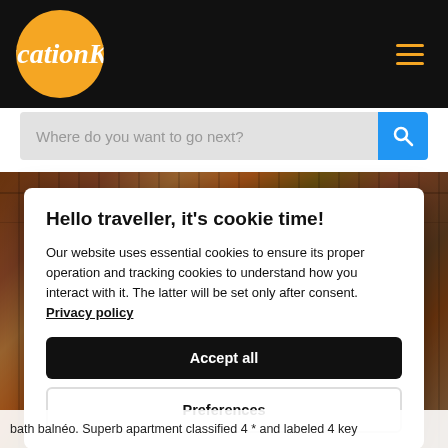VacationKey
[Figure (screenshot): Search bar with placeholder text 'Where do you want to go next?' and a blue search button with magnifying glass icon]
[Figure (photo): Background photo showing a wooden dining table set with chairs, plates, and glassware]
Hello traveller, it's cookie time!
Our website uses essential cookies to ensure its proper operation and tracking cookies to understand how you interact with it. The latter will be set only after consent. Privacy policy
Accept all
Preferences
bath balnéo. Superb apartment classified 4 * and labeled 4 key